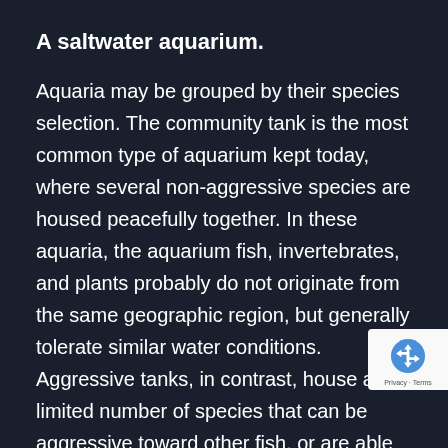A saltwater aquarium.
Aquaria may be grouped by their species selection. The community tank is the most common type of aquarium kept today, where several non-aggressive species are housed peacefully together. In these aquaria, the aquarium fish, invertebrates, and plants probably do not originate from the same geographic region, but generally tolerate similar water conditions. Aggressive tanks, in contrast, house a limited number of species that can be aggressive toward other fish, or are able
[Figure (logo): reCAPTCHA badge with recycling arrow logo icon and 'Privacy - Terms' text]